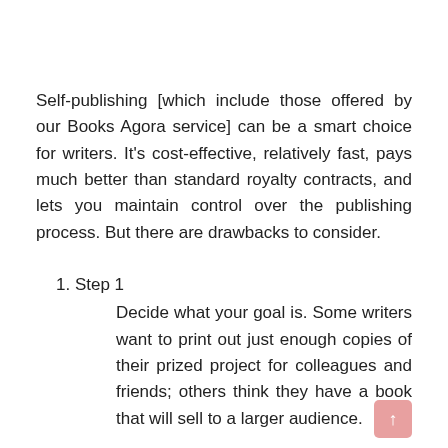Self-publishing [which include those offered by our Books Agora service] can be a smart choice for writers. It's cost-effective, relatively fast, pays much better than standard royalty contracts, and lets you maintain control over the publishing process. But there are drawbacks to consider.
Step 1
Decide what your goal is. Some writers want to print out just enough copies of their prized project for colleagues and friends; others think they have a book that will sell to a larger audience.